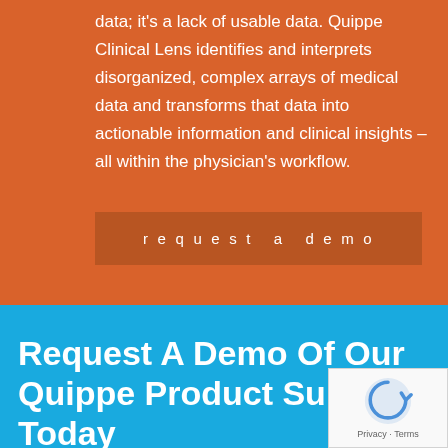data; it's a lack of usable data. Quippe Clinical Lens identifies and interprets disorganized, complex arrays of medical data and transforms that data into actionable information and clinical insights – all within the physician's workflow.
request a demo
Request A Demo Of Our Quippe Product Suite Today